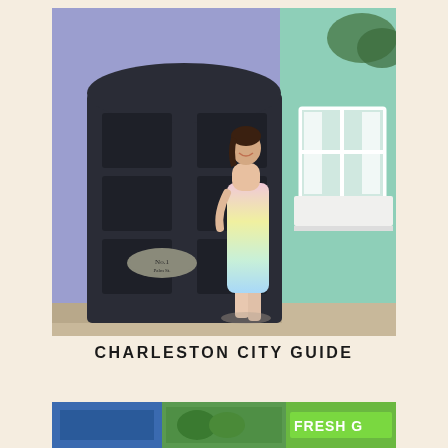[Figure (photo): A woman in a pastel rainbow ombre spaghetti-strap dress stands smiling in front of a large black arched wooden gate door, with a lavender-blue painted wall on the left and a mint-green building with a white-trimmed window on the right.]
CHARLESTON CITY GUIDE
[Figure (photo): Partial bottom strip showing a cropped photo with what appears to be a market scene and a green sign reading FRESH G...]